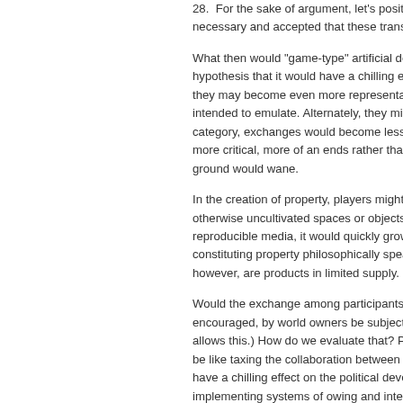28.  For the sake of argument, let's posit that it is necessary and accepted that these transa...
What then would "game-type" artificial do... hypothesis that it would have a chilling eff... they may become even more representa... intended to emulate. Alternately, they mig... category, exchanges would become less ... more critical, more of an ends rather than... ground would wane.
In the creation of property, players might e... otherwise uncultivated spaces or objects.... reproducible media, it would quickly grow... constituting property philosophically spea... however, are products in limited supply.
Would the exchange among participants o... encouraged, by world owners be subject t... allows this.) How do we evaluate that? Pa... be like taxing the collaboration between a... have a chilling effect on the political devel... implementing systems of owing and interc... developmental standpoint focused primar... of fate, this could also serve as a catalyst... possibility of having to deal with debts an... abstraction of capitalism. This of course w...
All spaces have their own demands, as cr... paradox, but the less developers code for... becomes. Contract systems will develo...